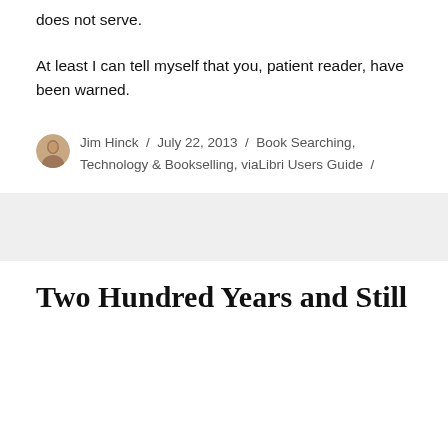does not serve.
At least I can tell myself that you, patient reader, have been warned.
Jim Hinck / July 22, 2013 / Book Searching, Technology & Bookselling, viaLibri Users Guide /
Two Hundred Years and Still